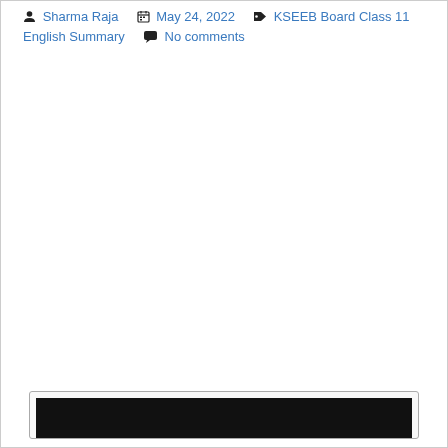Sharma Raja   May 24, 2022   KSEEB Board Class 11 English Summary   No comments
[Figure (screenshot): A dark/black rectangular image area at the bottom of the page, partially visible, appears to be a video thumbnail or embedded content preview.]